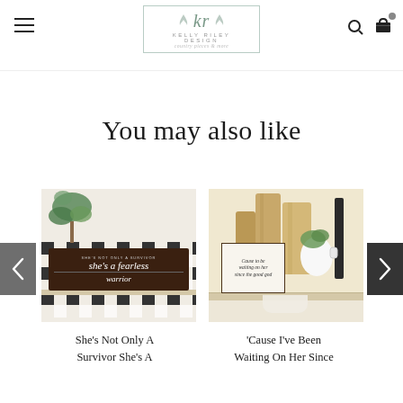[Figure (logo): Kelly Riley Design logo with stylized 'kr' script lettering, leaf/botanical decorations, and text 'KELLY RILEY DESIGN / country pieces & more']
You may also like
[Figure (photo): Product photo: 'She's not only a survivor, she's a fearless warrior' sign on black and white buffalo plaid background with tropical plant]
[Figure (photo): Product photo: Farmhouse sign on wooden shelf with cutting boards and greenery]
She's Not Only A Survivor She's A
'Cause I've Been Waiting On Her Since